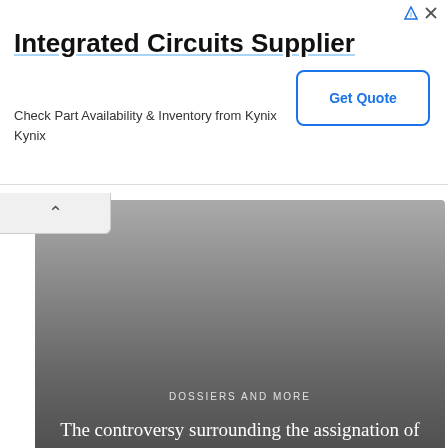Integrated Circuits Supplier
Check Part Availability & Inventory from Kynix
Kynix
[Figure (other): Get Quote button for Kynix ad]
[Figure (photo): Dark gray gradient background image panel showing article preview with label 'DOSSIERS AND MORE' and title 'The controversy surrounding the assignation of Marcelo de Arruda']
DOSSIERS AND MORE
The controversy surrounding the assignation of Marcelo de Arruda